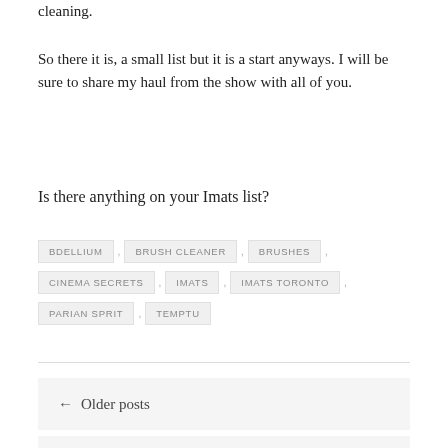cleaning.
So there it is, a small list but it is a start anyways. I will be sure to share my haul from the show with all of you.
Is there anything on your Imats list?
BDELLIUM , BRUSH CLEANER , BRUSHES , CINEMA SECRETS , IMATS , IMATS TORONTO , PARIAN SPRIT , TEMPTU
← Older posts
Newer posts →